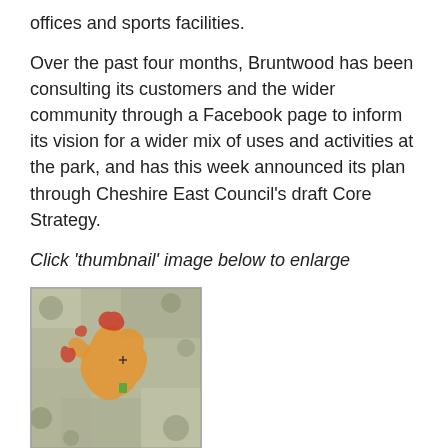offices and sports facilities.
Over the past four months, Bruntwood has been consulting its customers and the wider community through a Facebook page to inform its vision for a wider mix of uses and activities at the park, and has this week announced its plan through Cheshire East Council's draft Core Strategy.
Click 'thumbnail' image below to enlarge
[Figure (map): A thumbnail aerial/map image showing land parcels around Knutsford park area with orange, red, and green highlighted zones overlaid on a satellite/ordnance survey base map.]
Bruntwood will also contribute to the cost of upgrading Knutsford's highways infrastructure to tackle the existing congestion in the town, as well as